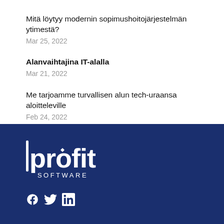Mitä löytyy modernin sopimushoitojärjestelmän ytimestä?
Mar 25, 2022
Alanvaihtajina IT-alalla
Mar 21, 2022
Me tarjoamme turvallisen alun tech-uraansa aloitteleville
Feb 24, 2022
[Figure (logo): Profit Software logo in white on dark navy blue background, with social media icons (Facebook, Twitter, LinkedIn) below]